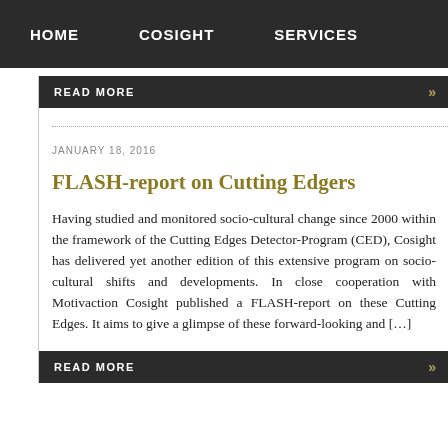HOME   COSIGHT   SERVICES
READ MORE »
JANUARY 18, 2016
FLASH-report on Cutting Edgers
Having studied and monitored socio-cultural change since 2000 within the framework of the Cutting Edges Detector-Program (CED), Cosight has delivered yet another edition of this extensive program on socio-cultural shifts and developments. In close cooperation with Motivaction Cosight published a FLASH-report on these Cutting Edges. It aims to give a glimpse of these forward-looking and [...]
READ MORE »